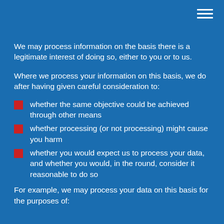We may process information on the basis there is a legitimate interest of doing so, either to you or to us.
Where we process your information on this basis, we do after having given careful consideration to:
whether the same objective could be achieved through other means
whether processing (or not processing) might cause you harm
whether you would expect us to process your data, and whether you would, in the round, consider it reasonable to do so
For example, we may process your data on this basis for the purposes of: